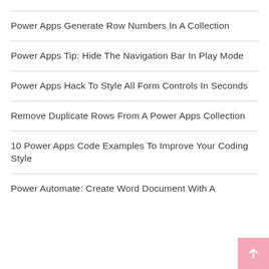Power Apps Generate Row Numbers In A Collection
Power Apps Tip: Hide The Navigation Bar In Play Mode
Power Apps Hack To Style All Form Controls In Seconds
Remove Duplicate Rows From A Power Apps Collection
10 Power Apps Code Examples To Improve Your Coding Style
Power Automate: Create Word Document With A